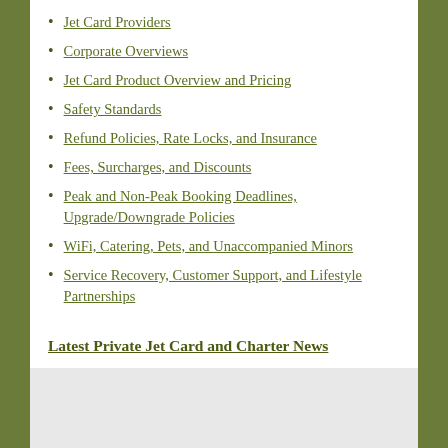Jet Card Providers
Corporate Overviews
Jet Card Product Overview and Pricing
Safety Standards
Refund Policies, Rate Locks, and Insurance
Fees, Surcharges, and Discounts
Peak and Non-Peak Booking Deadlines, Upgrade/Downgrade Policies
WiFi, Catering, Pets, and Unaccompanied Minors
Service Recovery, Customer Support, and Lifestyle Partnerships
Latest Private Jet Card and Charter News